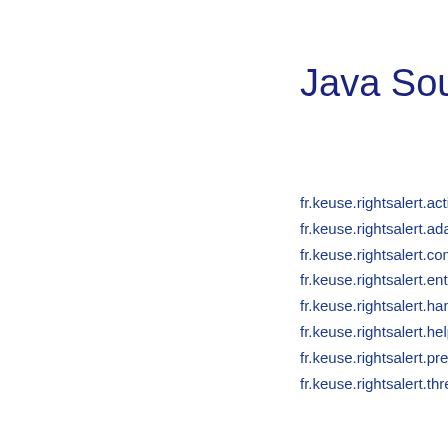Java Source (
fr.keuse.rightsalert.activity.Ap
fr.keuse.rightsalert.adapter.A
fr.keuse.rightsalert.comparat
fr.keuse.rightsalert.entity.App
fr.keuse.rightsalert.handler.L
fr.keuse.rightsalert.helper.Sc
fr.keuse.rightsalert.preferenc
fr.keuse.rightsalert.thread.Lo